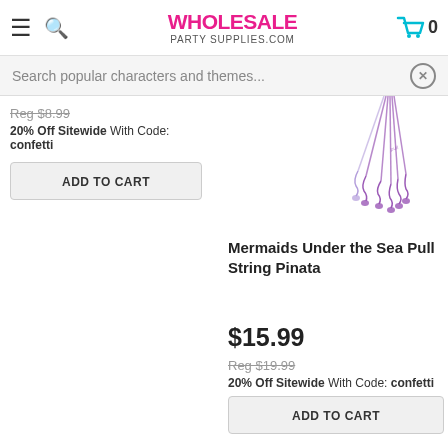WHOLESALE PARTY SUPPLIES.COM
Search popular characters and themes...
Reg $8.99
20% Off Sitewide With Code: confetti
ADD TO CART
[Figure (photo): Purple pull string pinata ribbons hanging down]
Mermaids Under the Sea Pull String Pinata
$15.99
Reg $19.99
20% Off Sitewide With Code: confetti
ADD TO CART
Mermaids Under the Sea Lunch Napkins (20)
[Figure (photo): Pink pearl bead bracelet]